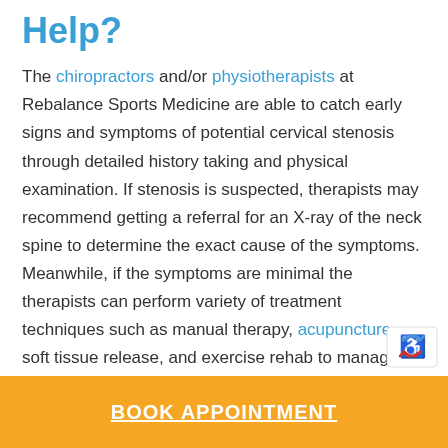Help?
The chiropractors and/or physiotherapists at Rebalance Sports Medicine are able to catch early signs and symptoms of potential cervical stenosis through detailed history taking and physical examination. If stenosis is suspected, therapists may recommend getting a referral for an X-ray of the neck spine to determine the exact cause of the symptoms. Meanwhile, if the symptoms are minimal the therapists can perform variety of treatment techniques such as manual therapy, acupuncture, soft tissue release, and exercise rehab to manage the symptoms.
BOOK APPOINTMENT